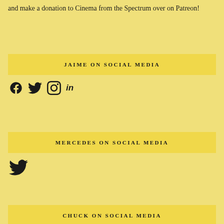and make a donation to Cinema from the Spectrum over on Patreon!
JAIME ON SOCIAL MEDIA
[Figure (infographic): Social media icons: Facebook, Twitter, Instagram, LinkedIn]
MERCEDES ON SOCIAL MEDIA
[Figure (infographic): Social media icon: Twitter]
CHUCK ON SOCIAL MEDIA